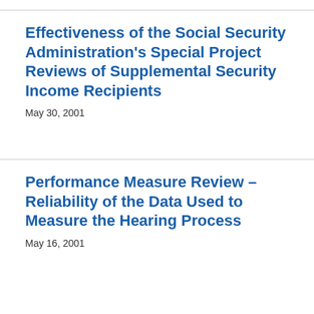Effectiveness of the Social Security Administration's Special Project Reviews of Supplemental Security Income Recipients
May 30, 2001
Performance Measure Review – Reliability of the Data Used to Measure the Hearing Process
May 16, 2001